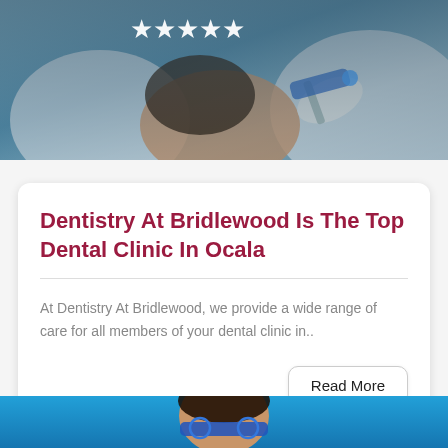[Figure (photo): Dental clinic photo showing a patient receiving dental treatment, with stars overlay at top]
Dentistry At Bridlewood Is The Top Dental Clinic In Ocala
At Dentistry At Bridlewood, we provide a wide range of care for all members of your dental clinic in..
[Figure (photo): Bottom photo showing a person wearing blue glasses against a blue background]